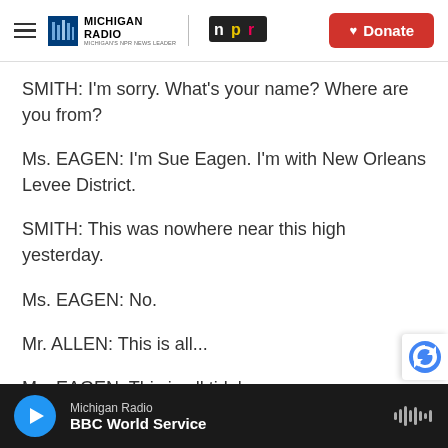Michigan Radio | NPR — Donate
SMITH: I'm sorry. What's your name? Where are you from?
Ms. EAGEN: I'm Sue Eagen. I'm with New Orleans Levee District.
SMITH: This was nowhere near this high yesterday.
Ms. EAGEN: No.
Mr. ALLEN: This is all...
Ms. EAGEN: This is all tidal surge.
Michigan Radio — BBC World Service